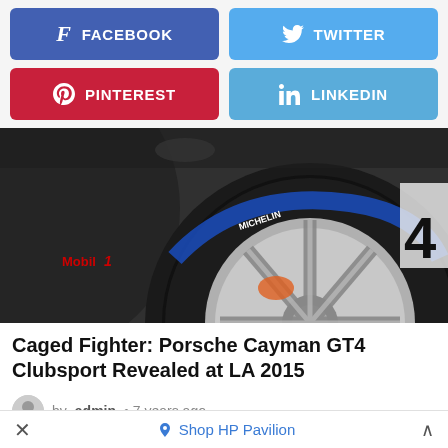[Figure (screenshot): Social share buttons: Facebook (blue), Twitter (cyan), Pinterest (red), LinkedIn (light blue)]
[Figure (photo): Close-up photo of a Porsche Cayman GT4 Clubsport race car wheel with Michelin tire and Mobil 1 branding on a dark car body]
Caged Fighter: Porsche Cayman GT4 Clubsport Revealed at LA 2015
by admin • 7 years ago
[Figure (photo): Partial thumbnail image strip showing a red circular icon and a landscape scene]
× Shop HP Pavilion ^